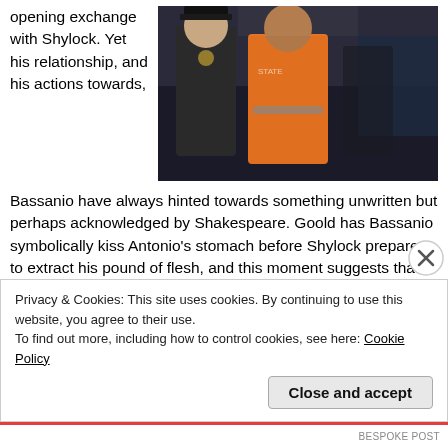opening exchange with Shylock. Yet his relationship, and his actions towards,
[Figure (photo): A person in an orange jumpsuit (prisoner outfit) standing next to a police officer in uniform, in what appears to be a courtroom or stage setting.]
Bassanio have always hinted towards something unwritten but perhaps acknowledged by Shakespeare. Goold has Bassanio symbolically kiss Antonio's stomach before Shylock prepares to extract his pound of flesh, and this moment suggests that something more has been left unsaid.
Significantly it is only Antonio that is prepared to show Shylock any mercy. It is a grudging mercy, a mercy that reeks of ill-will, but
Privacy & Cookies: This site uses cookies. By continuing to use this website, you agree to their use.
To find out more, including how to control cookies, see here: Cookie Policy
Close and accept